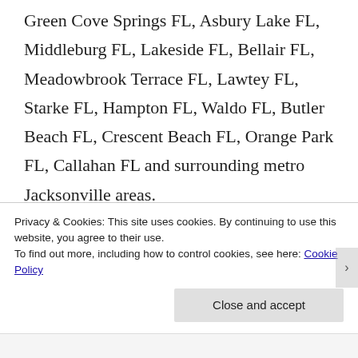Green Cove Springs FL, Asbury Lake FL, Middleburg FL, Lakeside FL, Bellair FL, Meadowbrook Terrace FL, Lawtey FL, Starke FL, Hampton FL, Waldo FL, Butler Beach FL, Crescent Beach FL, Orange Park FL, Callahan FL and surrounding metro Jacksonville areas.
Privacy & Cookies: This site uses cookies. By continuing to use this website, you agree to their use.
To find out more, including how to control cookies, see here: Cookie Policy